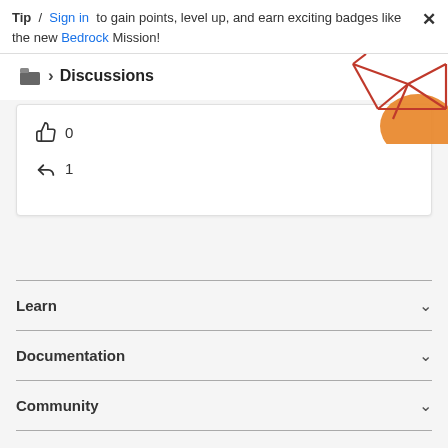Tip / Sign in to gain points, level up, and earn exciting badges like the new Bedrock Mission!
Discussions
[Figure (illustration): Abstract red geometric line art with orange circle shape in top right corner]
0
1
Learn
Documentation
Community